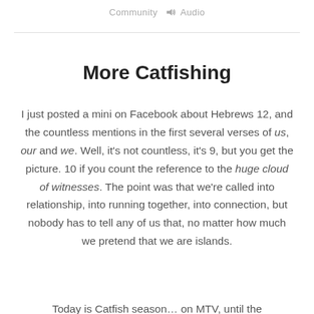Community  🔊 Audio
More Catfishing
I just posted a mini on Facebook about Hebrews 12, and the countless mentions in the first several verses of us, our and we. Well, it's not countless, it's 9, but you get the picture. 10 if you count the reference to the huge cloud of witnesses. The point was that we're called into relationship, into running together, into connection, but nobody has to tell any of us that, no matter how much we pretend that we are islands.
Today is Catfish season…